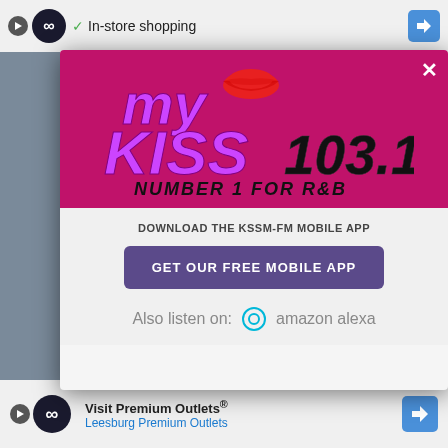[Figure (screenshot): Screenshot of a mobile web browser showing a modal popup for My Kiss 103.1 radio station app download, with top and bottom advertisement bars visible]
In-store shopping
[Figure (logo): My Kiss 103.1 - Number 1 for R&B radio station logo with purple text and red lips graphic on magenta background]
DOWNLOAD THE KSSM-FM MOBILE APP
GET OUR FREE MOBILE APP
Also listen on: amazon alexa
Visit Premium Outlets®
Leesburg Premium Outlets